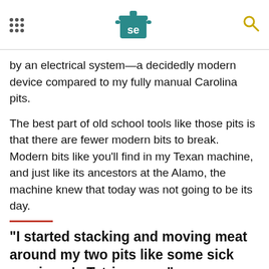Serious Eats header with navigation menu and search icon
by an electrical system—a decidedly modern device compared to my fully manual Carolina pits.
The best part of old school tools like those pits is that there are fewer modern bits to break. Modern bits like you'll find in my Texan machine, and just like its ancestors at the Alamo, the machine knew that today was not going to be its day.
"I started stacking and moving meat around my two pits like some sick carnivore's Tetris game."
[Figure (logo): Dotdash Meredith advertisement banner with dark background, red D circle logo, and colorful dots logo]